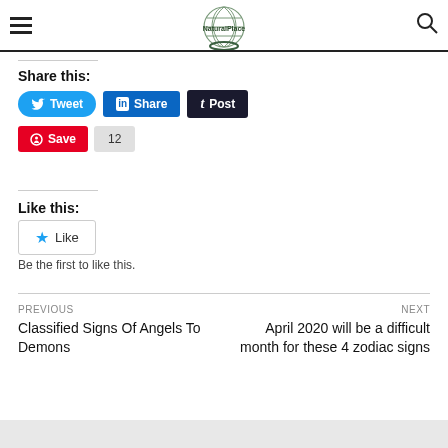Navigation header with hamburger menu, site logo, and search icon
Share this:
[Figure (other): Social share buttons: Tweet (Twitter), Share (LinkedIn), Post (Tumblr), Save (Pinterest) with count 12]
Like this:
[Figure (other): Like button widget with star icon]
Be the first to like this.
PREVIOUS
Classified Signs Of Angels To Demons
NEXT
April 2020 will be a difficult month for these 4 zodiac signs